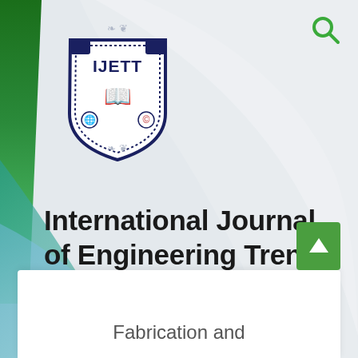[Figure (logo): IJETT shield logo with open book, globe, and decorative border, dark navy blue]
International Journal of Engineering Trends and Technology
Fabrication and